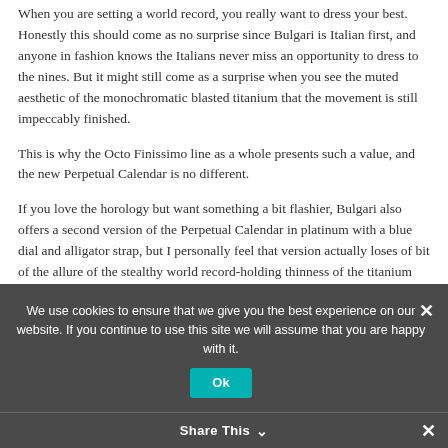When you are setting a world record, you really want to dress your best. Honestly this should come as no surprise since Bulgari is Italian first, and anyone in fashion knows the Italians never miss an opportunity to dress to the nines. But it might still come as a surprise when you see the muted aesthetic of the monochromatic blasted titanium that the movement is still impeccably finished.
This is why the Octo Finissimo line as a whole presents such a value, and the new Perpetual Calendar is no different.
If you love the horology but want something a bit flashier, Bulgari also offers a second version of the Perpetual Calendar in platinum with a blue dial and alligator strap, but I personally feel that version actually loses of bit of the allure of the stealthy world record-holding thinness of the titanium version.
We use cookies to ensure that we give you the best experience on our website. If you continue to use this site we will assume that you are happy with it.
Share This